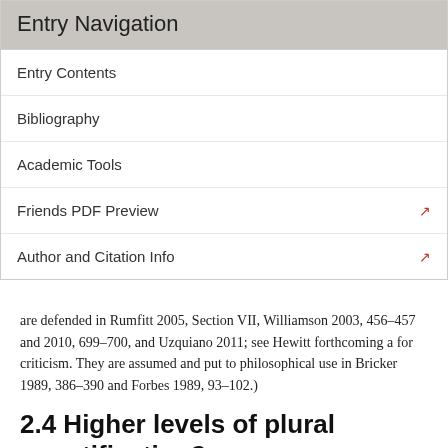Entry Navigation
Entry Contents
Bibliography
Academic Tools
Friends PDF Preview
Author and Citation Info
are defended in Rumfitt 2005, Section VII, Williamson 2003, 456–457 and 2010, 699–700, and Uzquiano 2011; see Hewitt forthcoming a for criticism. They are assumed and put to philosophical use in Bricker 1989, 386–390 and Forbes 1989, 93–102.)
2.4 Higher levels of plural quantification?
One way of going beyond PFO+ would be by allowing quantification into predicate positions, including those of